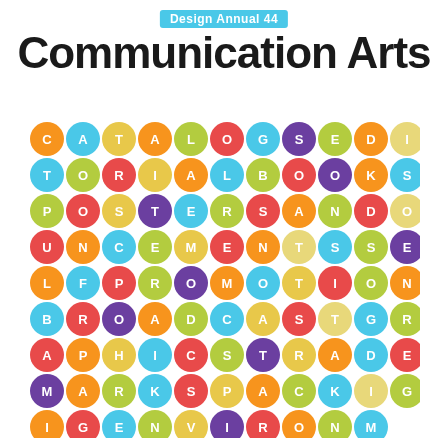Design Annual 44
Communication Arts
[Figure (illustration): A grid of colorful circles each containing a white letter, spelling out design categories: CATALOGSEDI, TORIABOOKS, POSTERSAND, UNCEMENTSSE, LFPROMOTION, BROADCASTGR, APHICSTRADE, MARKSPACKI G, IGENVIRONM, ENTGRAPHI, CSBROCHURES]